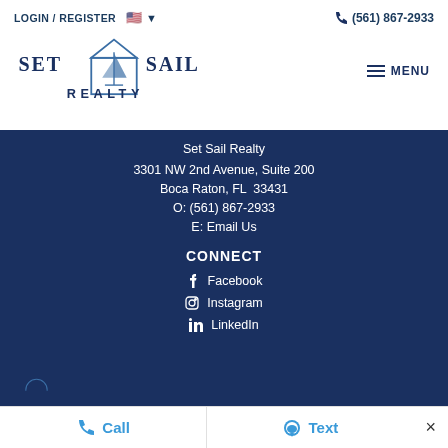LOGIN / REGISTER  🇺🇸 ▾  📞 (561) 867-2933
[Figure (logo): Set Sail Realty logo with sailboat in house icon, text SET SAIL REALTY]
Set Sail Realty
3301 NW 2nd Avenue, Suite 200
Boca Raton, FL  33431
O: (561) 867-2933
E: Email Us
CONNECT
Facebook
Instagram
LinkedIn
Call   Text   ×